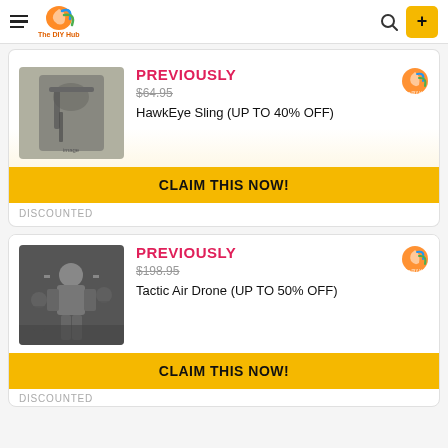The DIY Hub
[Figure (screenshot): Product card: HawkEye Sling with PREVIOUSLY label, $64.95 strikethrough price, CLAIM THIS NOW button, DISCOUNTED tag]
[Figure (screenshot): Product card: Tactic Air Drone with PREVIOUSLY label, $198.95 strikethrough price, CLAIM THIS NOW button]